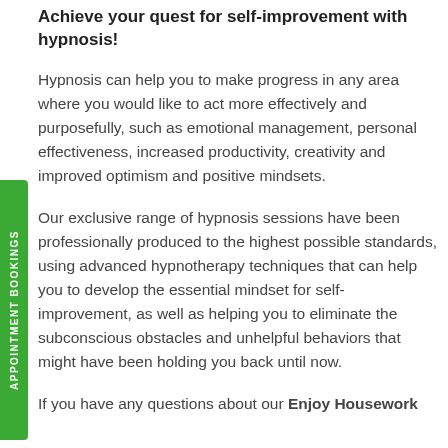Achieve your quest for self-improvement with hypnosis!
Hypnosis can help you to make progress in any area where you would like to act more effectively and purposefully, such as emotional management, personal effectiveness, increased productivity, creativity and improved optimism and positive mindsets.
Our exclusive range of hypnosis sessions have been professionally produced to the highest possible standards, using advanced hypnotherapy techniques that can help you to develop the essential mindset for self-improvement, as well as helping you to eliminate the subconscious obstacles and unhelpful behaviors that might have been holding you back until now.
If you have any questions about our Enjoy Housework